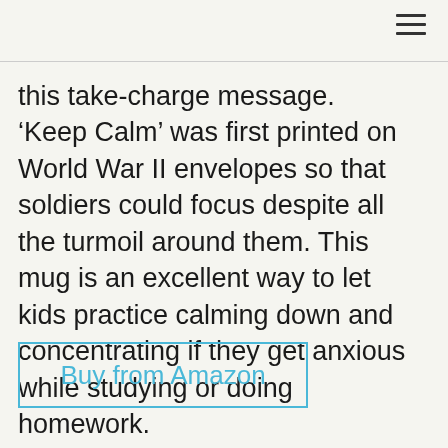this take-charge message. ‘Keep Calm’ was first printed on World War II envelopes so that soldiers could focus despite all the turmoil around them. This mug is an excellent way to let kids practice calming down and concentrating if they get anxious while studying or doing homework.
Buy from Amazon